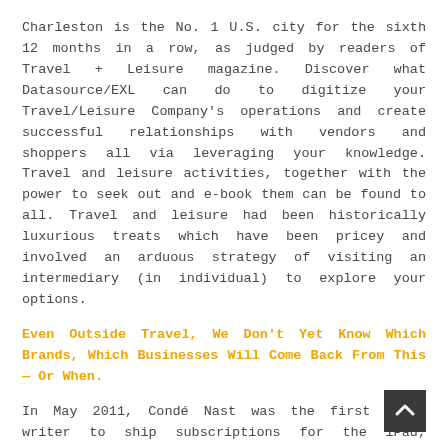Charleston is the No. 1 U.S. city for the sixth 12 months in a row, as judged by readers of Travel + Leisure magazine. Discover what Datasource/EXL can do to digitize your Travel/Leisure Company's operations and create successful relationships with vendors and shoppers all via leveraging your knowledge. Travel and leisure activities, together with the power to seek out and e-book them can be found to all. Travel and leisure had been historically luxurious treats which have been pricey and involved an arduous strategy of visiting an intermediary (in individual) to explore your options.
Even Outside Travel, We Don't Yet Know Which Brands, Which Businesses Will Come Back From This — Or When.
In May 2011, Condé Nast was the first major writer to ship subscriptions for the iPad, starting with The New Yorker; the corporate has since rolled out iPad subscriptions for 9 of its titles. In the identical month, Next Issue Media, a joint venture shaped by...